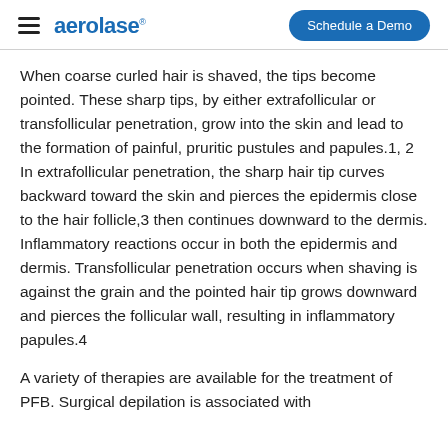aerolase | Schedule a Demo
When coarse curled hair is shaved, the tips become pointed. These sharp tips, by either extrafollicular or transfollicular penetration, grow into the skin and lead to the formation of painful, pruritic pustules and papules.1, 2 In extrafollicular penetration, the sharp hair tip curves backward toward the skin and pierces the epidermis close to the hair follicle,3 then continues downward to the dermis. Inflammatory reactions occur in both the epidermis and dermis. Transfollicular penetration occurs when shaving is against the grain and the pointed hair tip grows downward and pierces the follicular wall, resulting in inflammatory papules.4
A variety of therapies are available for the treatment of PFB. Surgical depilation is associated with